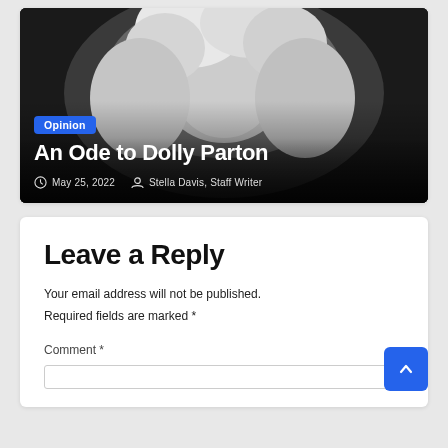[Figure (photo): Black and white photograph of Dolly Parton with curly blonde hair, smiling, with overlaid article title, category badge, date, and author information.]
An Ode to Dolly Parton
Opinion
May 25, 2022   Stella Davis, Staff Writer
Leave a Reply
Your email address will not be published.
Required fields are marked *
Comment *